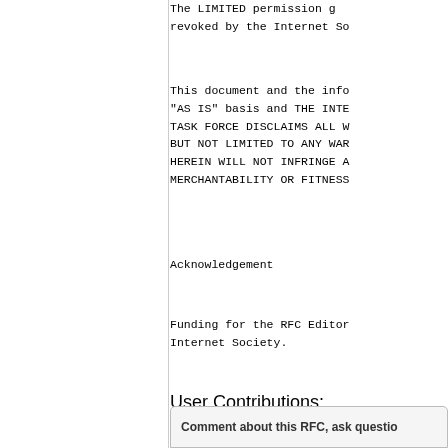The LIMITED permission granted above will be revoked by the Internet So
This document and the info "AS IS" basis and THE INTE TASK FORCE DISCLAIMS ALL W BUT NOT LIMITED TO ANY WAR HEREIN WILL NOT INFRINGE A MERCHANTABILITY OR FITNESS
Acknowledgement
Funding for the RFC Editor Internet Society.
User Contributions:
Comment about this RFC, ask questio